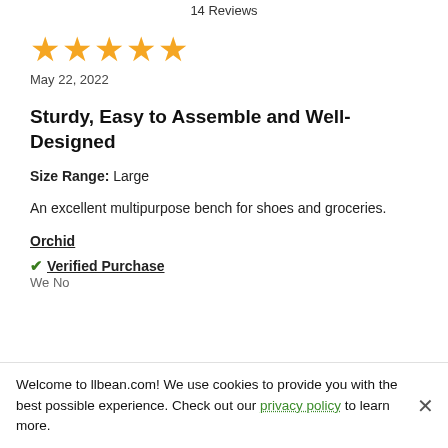14 Reviews
[Figure (other): 5 gold stars rating]
May 22, 2022
Sturdy, Easy to Assemble and Well-Designed
Size Range: Large
An excellent multipurpose bench for shoes and groceries.
Orchid
✔ Verified Purchase
We...hd...ful...No
Welcome to llbean.com! We use cookies to provide you with the best possible experience. Check out our privacy policy to learn more.